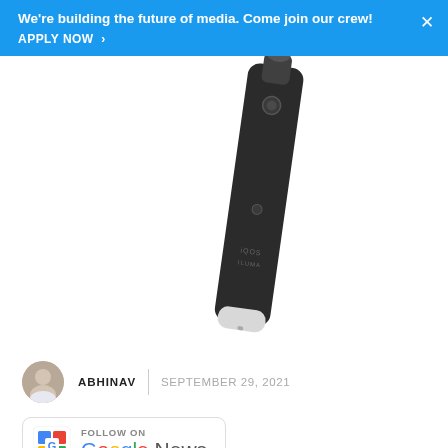We're building the future of media. Come join our crew! APPLY NOW >
[Figure (photo): A black cylindrical electronic device (appears to be a vape pen or similar gadget) photographed at an angle against a white background. The device has a circular button near the top and text near the bottom reading something like 'iQOS' or similar branding.]
ABHINAV | SEPTEMBER 29, 2021
[Figure (logo): Follow on Google News button with Google News icon (colorful GN logo) on left and 'FOLLOW ON / Google News' text on right, inside a rounded rectangle border.]